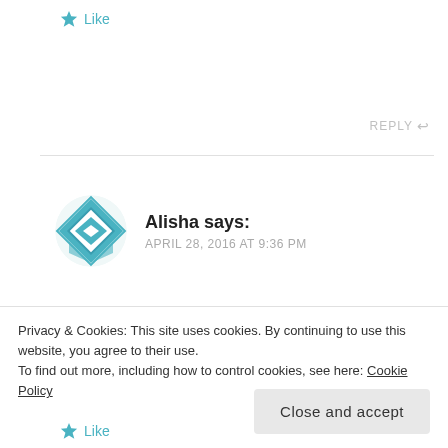★ Like
REPLY ↩
Alisha says: APRIL 28, 2016 AT 9:36 PM
This was AMAZING! I've never seen colour so bright on dark hair! And the twists are such a great idea I'm so glad I've found this I'll definitely be trying it out!
Privacy & Cookies: This site uses cookies. By continuing to use this website, you agree to their use.
To find out more, including how to control cookies, see here: Cookie Policy
Close and accept
★ Like